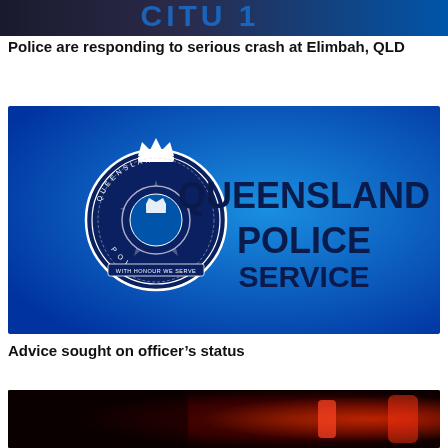[Figure (photo): Partial top banner image, appears to show a police-related graphic with partial text visible]
Police are responding to serious crash at Elimbah, QLD
[Figure (logo): Queensland Police Service official logo with badge on blue gradient background. Text reads QUEENSLAND POLICE SERVICE in dark navy bold letters.]
Advice sought on officer’s status
[Figure (photo): Dark image with red lighting showing a person, likely in a police or night scene context]